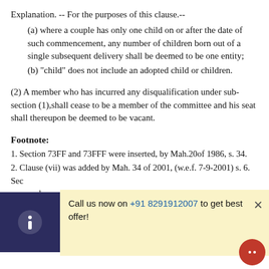Explanation. -- For the purposes of this clause.--
(a) where a couple has only one child on or after the date of such commencement, any number of children born out of a single subsequent delivery shall be deemed to be one entity;
(b) "child" does not include an adopted child or children.
(2) A member who has incurred any disqualification under sub-section (1),shall cease to be a member of the committee and his seat shall thereupon be deemed to be vacant.
Footnote:
1. Section 73FF and 73FFF were inserted, by Mah.20of 1986, s. 34.
2. Clause (vii) was added by Mah. 34 of 2001, (w.e.f. 7-9-2001) s. 6.
Sec[tion...] ele[cted...]
[Figure (screenshot): Popup notification with dark blue info icon on left, yellow background on right reading: Call us now on +91 8291912007 to get best offer! with an X close button.]
(1) A member of a committee who has ceased to be a